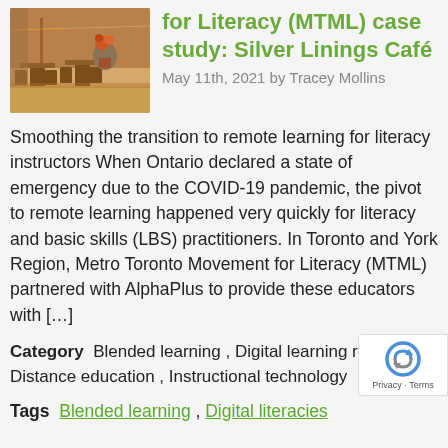[Figure (photo): Photo of an outdoor café patio with wooden furniture, plants, and warm lighting]
Metro Toronto Movement for Literacy (MTML) case study: Silver Linings Café
May 11th, 2021 by Tracey Mollins
Smoothing the transition to remote learning for literacy instructors When Ontario declared a state of emergency due to the COVID-19 pandemic, the pivot to remote learning happened very quickly for literacy and basic skills (LBS) practitioners. In Toronto and York Region, Metro Toronto Movement for Literacy (MTML) partnered with AlphaPlus to provide these educators with […]
Category  Blended learning , Digital learning resources , Distance education , Instructional technology
Tags  Blended learning , Digital literacies